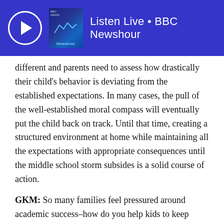Listen Live • BBC Newshour
different and parents need to assess how drastically their child's behavior is deviating from the established expectations.  In many cases, the pull of the well-established moral compass will eventually put the child back on track. Until that time, creating a structured environment at home while maintaining all the expectations with appropriate consequences until the middle school storm subsides is a solid course of action.
GKM: So many families feel pressured around academic success–how do you help kids to keep academic success in perspective just as they enter the age when grades are important for college transcripts?
AM: Middle school is not about grades, but rather